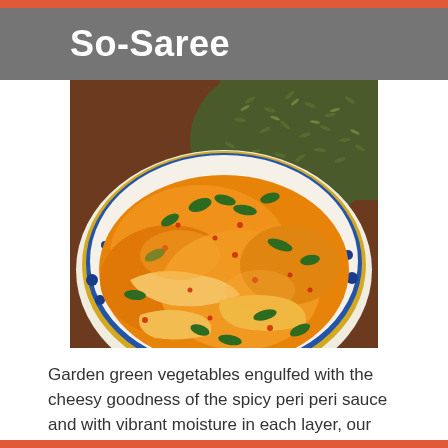So-Saree
[Figure (photo): A bowl of curry with orange/yellow peri peri sauce containing vegetables and green leaves, served alongside green rice or herb rice, photographed from above on a rustic surface.]
Garden green vegetables engulfed with the cheesy goodness of the spicy peri peri sauce and with vibrant moisture in each layer, our